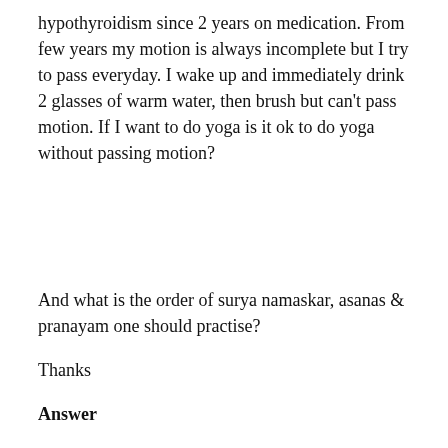hypothyroidism since 2 years on medication. From few years my motion is always incomplete but I try to pass everyday. I wake up and immediately drink 2 glasses of warm water, then brush but can't pass motion. If I want to do yoga is it ok to do yoga without passing motion?
And what is the order of surya namaskar, asanas & pranayam one should practise?
Thanks
Answer